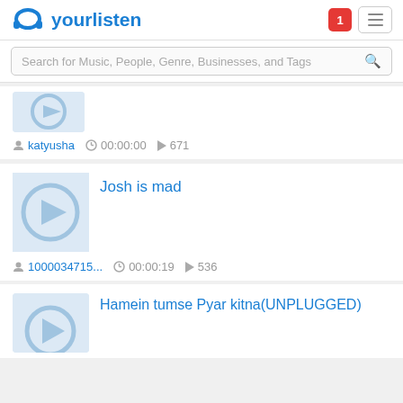yourlisten — logo and navigation header
Search for Music, People, Genre, Businesses, and Tags
[Figure (other): Partial album thumbnail (cropped at top)]
katyusha  00:00:00  671
Josh is mad
[Figure (other): Play button thumbnail for Josh is mad]
1000034715...  00:00:19  536
Hamein tumse Pyar kitna(UNPLUGGED)
[Figure (other): Play button thumbnail for Hamein tumse Pyar kitna(UNPLUGGED)]